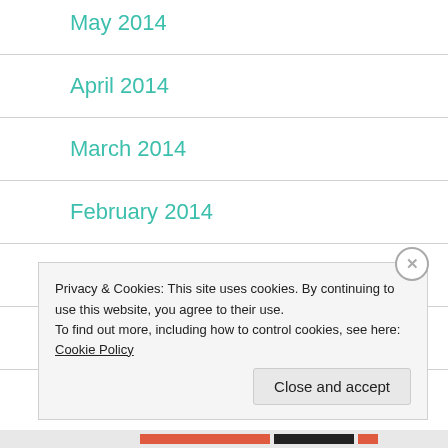May 2014
April 2014
March 2014
February 2014
November 2013
September 2013
Privacy & Cookies: This site uses cookies. By continuing to use this website, you agree to their use.
To find out more, including how to control cookies, see here: Cookie Policy
Close and accept